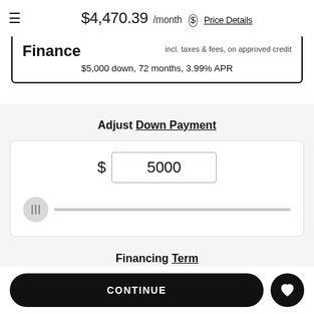$4,470.39 /month  Price Details
Finance
incl. taxes & fees, on approved credit
$5,000 down, 72 months, 3.99% APR
Adjust Down Payment
$ 5000
Financing Term
48 Months
CONTINUE